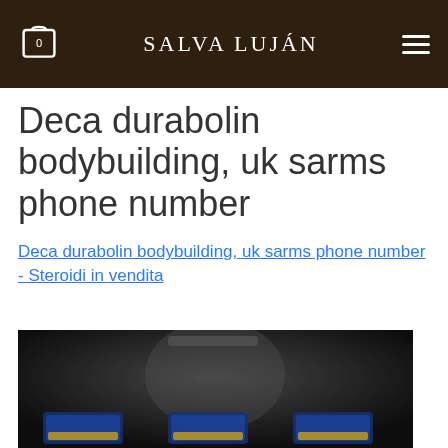SALVA LUJÁN
Deca durabolin bodybuilding, uk sarms phone number
Deca durabolin bodybuilding, uk sarms phone number - Steroidi in vendita
[Figure (photo): Blurred dark image showing bodybuilding supplement products with colorful packaging at the bottom]